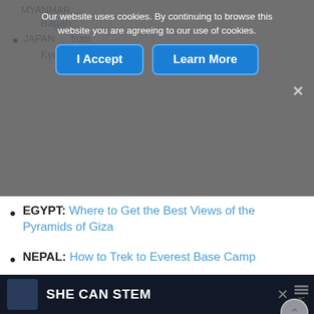MYANMAR: (partially obscured) Bagan (link, partially obscured)
JAPAN: (partially obscured) from Kyoto (link, partially obscured)
[Figure (screenshot): Cookie consent banner overlay with dark dimmed background, text reading 'Our website uses cookies. By continuing to browse this website you are agreeing to our use of cookies.' with two blue buttons: 'I Accept' and 'Learn More', and a close X button]
EGYPT: Where to Get the Best Views of the Pyramids of Giza
NEPAL: How to Trek to Everest Base Camp
[Figure (photo): Close-up photograph of ornate stone temple columns and carvings with EarthTrekkers.com watermark]
SHE CAN STEM